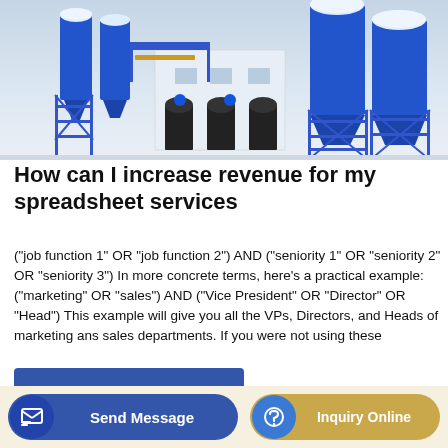[Figure (photo): Industrial concrete batching plant with blue steel silos, conveyors, and a white building in the background]
How can I increase revenue for my spreadsheet services
("job function 1" OR "job function 2") AND ("seniority 1" OR "seniority 2" OR "seniority 3") In more concrete terms, here's a practical example: ("marketing" OR "sales") AND ("Vice President" OR "Director" OR "Head") This example will give you all the VPs, Directors, and Heads of marketing ans sales departments. If you were not using these
GET A QUOTE
Send Message
Inquiry Online